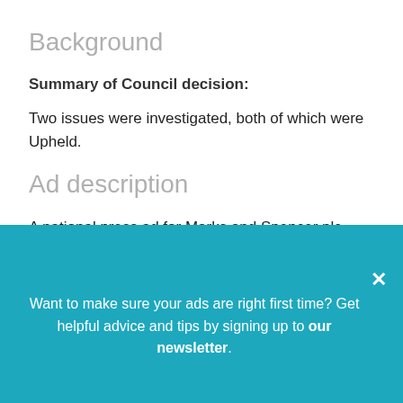Background
Summary of Council decision:
Two issues were investigated, both of which were Upheld.
Ad description
A national press ad for Marks and Spencer plc seen on 19 December 2017 featured text that stated, “We’re £10 cheaper than 2016** As reported by Good Housekeeping Institute M&S. The only supermarket where Christmas
Want to make sure your ads are right first time? Get helpful advice and tips by signing up to our newsletter.